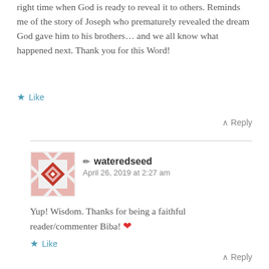right time when God is ready to reveal it to others. Reminds me of the story of Joseph who prematurely revealed the dream God gave him to his brothers… and we all know what happened next. Thank you for this Word!
★ Like
∧ Reply
[Figure (logo): Red geometric quilt-pattern avatar for wateredseed]
✏ wateredseed
April 26, 2019 at 2:27 am
Yup! Wisdom. Thanks for being a faithful reader/commenter Biba! ❤
★ Like
∧ Reply